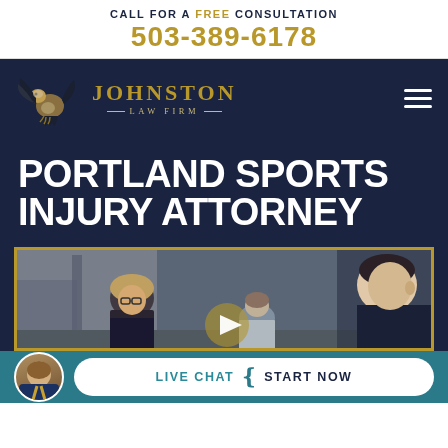CALL FOR A FREE CONSULTATION 503-389-6178
[Figure (logo): Johnston Law Firm logo with eagle and gold text on dark navy background, with hamburger menu icon]
PORTLAND SPORTS INJURY ATTORNEY
[Figure (photo): Video thumbnail showing law firm consultation scene with people in an office, with a play button overlay]
LIVE CHAT | START NOW